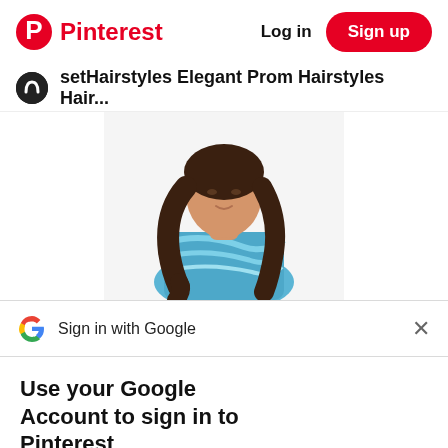Pinterest   Log in   Sign up
setHairstyles Elegant Prom Hairstyles Hair...
[Figure (photo): Woman with long wavy dark hair wearing a blue patterned top]
Sign in with Google
Use your Google Account to sign in to Pinterest
No more passwords to remember. Signing in is fast, simple and secure.
[Figure (illustration): Google key and colored circles illustration]
Continue